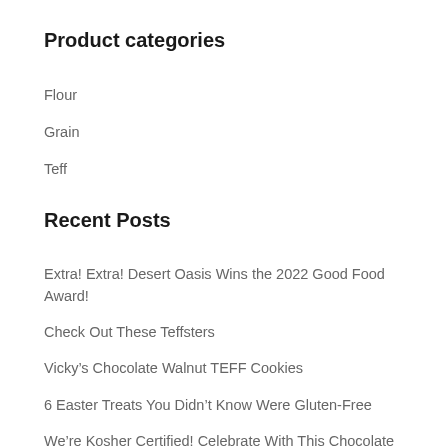Product categories
Flour
Grain
Teff
Recent Posts
Extra! Extra! Desert Oasis Wins the 2022 Good Food Award!
Check Out These Teffsters
Vicky’s Chocolate Walnut TEFF Cookies
6 Easter Treats You Didn’t Know Were Gluten-Free
We’re Kosher Certified! Celebrate With This Chocolate Cake Recipe